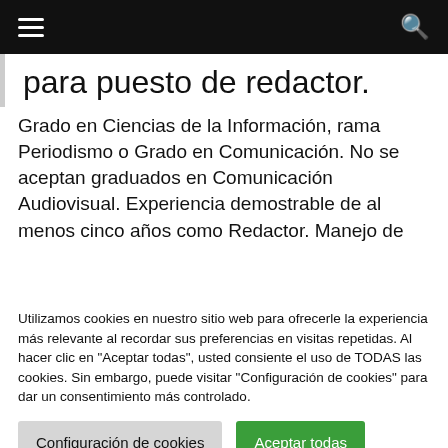[Figure (screenshot): Black top navigation bar with hamburger menu icon on left and search icon on right]
para puesto de redactor.
Grado en Ciencias de la Información, rama Periodismo o Grado en Comunicación. No se aceptan graduados en Comunicación Audiovisual. Experiencia demostrable de al menos cinco años como Redactor. Manejo de
Utilizamos cookies en nuestro sitio web para ofrecerle la experiencia más relevante al recordar sus preferencias en visitas repetidas. Al hacer clic en "Aceptar todas", usted consiente el uso de TODAS las cookies. Sin embargo, puede visitar "Configuración de cookies" para dar un consentimiento más controlado.
Configuración de cookies
Aceptar todas
Cambiar Idioma »